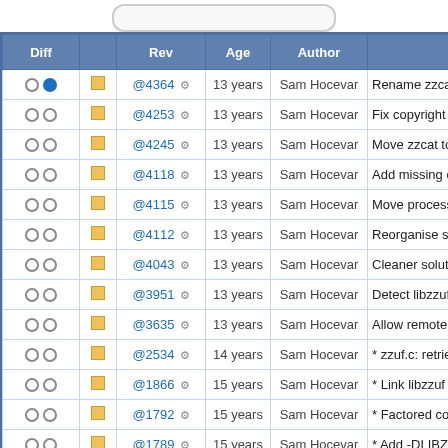| Diff |  | Rev | Age | Author |  |
| --- | --- | --- | --- | --- | --- |
| ○ ● | ■ | @4364 ⚙ | 13 years | Sam Hocevar | Rename zzcat to zzat to avoi |
| ○ ○ | ■ | @4253 ⚙ | 13 years | Sam Hocevar | Fix copyright information and |
| ○ ○ | ■ | @4245 ⚙ | 13 years | Sam Hocevar | Move zzcat to the main src/ d |
| ○ ○ | ■ | @4118 ⚙ | 13 years | Sam Hocevar | Add missing distributed files i |
| ○ ○ | ■ | @4115 ⚙ | 13 years | Sam Hocevar | Move process creation stuff to |
| ○ ○ | ■ | @4112 ⚙ | 13 years | Sam Hocevar | Reorganise source code to be |
| ○ ○ | ■ | @4043 ⚙ | 13 years | Sam Hocevar | Cleaner solution for echoing t |
| ○ ○ | ■ | @3951 ⚙ | 13 years | Sam Hocevar | Detect libzzuf soname at conf |
| ○ ○ | ■ | @3635 ⚙ | 13 years | Sam Hocevar | Allow remote network host filt |
| ○ ○ | ■ | @2534 ⚙ | 14 years | Sam Hocevar | * zzuf.c: retrieve library object |
| ○ ○ | ■ | @1866 ⚙ | 15 years | Sam Hocevar | * Link libzzuf with winsock be |
| ○ ○ | ■ | @1792 ⚙ | 15 years | Sam Hocevar | * Factored common range-pa |
| ○ ○ | ■ | @1789 ⚙ | 15 years | Sam Hocevar | * Add -DLIBZZUF to the libzz |
| ○ ○ | ■ | @1733 ⚙ | 16 years | Sam Hocevar | * Reimplemented getopt_long |
| ○ ○ | ■ | @1702 ⚙ | 16 years | Sam Hocevar | * Added DLL injection to the W |
| ○ ○ | ■ | @1701 ⚙ | 16 years | Sam Hocevar | * Added DLL initialisation cod |
| ○ ○ | ■ | @1692 ⚙ | 16 years | Sam Hocevar | * Reorganised code, got rid o |